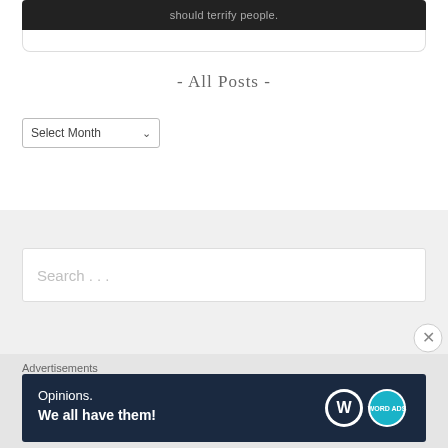[Figure (screenshot): Dark bar at top with text 'should terrify people.' in gray on black background, with white card border below]
- All Posts -
[Figure (screenshot): Select Month dropdown selector with chevron arrow]
[Figure (screenshot): Search box with placeholder text 'Search...']
Advertisements
[Figure (illustration): Advertisement banner: dark navy background with 'Opinions. We all have them!' text and WordPress and WordAds logos]